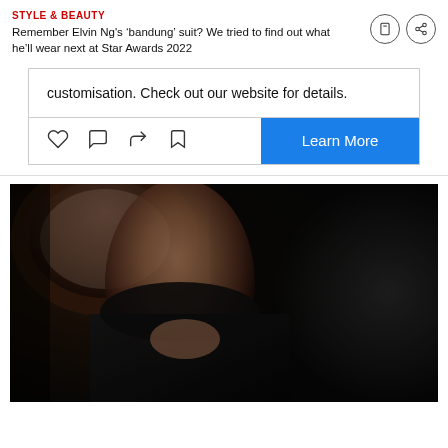STYLE & BEAUTY
Remember Elvin Ng's 'bandung' suit? We tried to find out what he'll wear next at Star Awards 2022
customisation. Check out our website for details.
[Figure (photo): Portrait photo of a young Asian man in dark clothing, seated in an ornate chair, hands clasped near his face, moody studio lighting against a dark grey background]